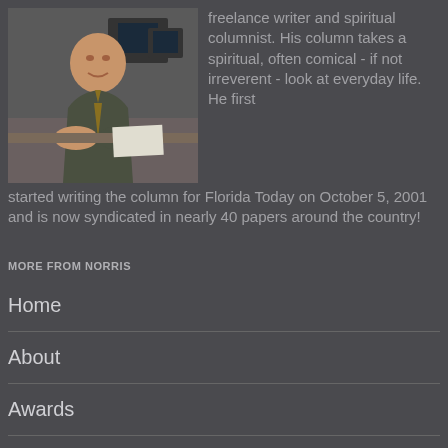[Figure (photo): Photo of a smiling bald man in a suit and tie seated at a desk in a newsroom/office environment]
freelance writer and spiritual columnist. His column takes a spiritual, often comical - if not irreverent - look at everyday life. He first started writing the column for Florida Today on October 5, 2001 and is now syndicated in nearly 40 papers around the country!
MORE FROM NORRIS
Home
About
Awards
Columns